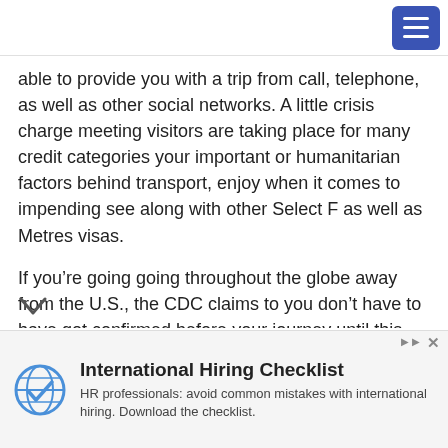[navigation bar with hamburger menu]
able to provide you with a trip from call, telephone, as well as other social networks. A little crisis charge meeting visitors are taking place for many credit categories your important or humanitarian factors behind transport, enjoy when it comes to impending see along with other Select F as well as Metres visas.
If you’re going going throughout the globe away from the U.S., the CDC claims to you don’t have to have got confirmed before your journey until this has requested at the location. Previously arriving on U.S., essential an undesirable examine within the last few 3 days over the past an individual
[Figure (other): Advertisement banner: International Hiring Checklist — HR professionals: avoid common mistakes with international hiring. Download the checklist. Logo shows a globe with a checkmark.]